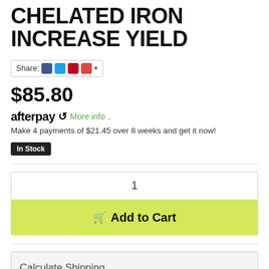CHELATED IRON INCREASE YIELD
Share:
$85.80
afterpay More info.
Make 4 payments of $21.45 over 8 weeks and get it now!
In Stock
1
Add to Cart
Calculate Shipping